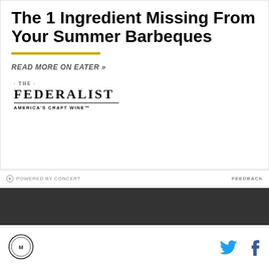The 1 Ingredient Missing From Your Summer Barbeques
READ MORE ON EATER »
[Figure (logo): The Federalist - America's Craft Wine logo]
POWERED BY CONCERT   FEEDBACK
[Figure (other): Dark gray banner/ad block]
[Figure (logo): Site logo circle (bottom left) and social icons (Twitter, Facebook)]